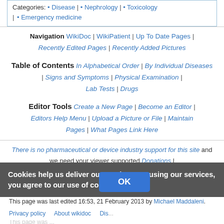Categories: • Disease | • Nephrology | • Toxicology | • Emergency medicine
Navigation WikiDoc | WikiPatient | Up To Date Pages | Recently Edited Pages | Recently Added Pictures
Table of Contents In Alphabetical Order | By Individual Diseases | Signs and Symptoms | Physical Examination | Lab Tests | Drugs
Editor Tools Create a New Page | Become an Editor | Editors Help Menu | Upload a Picture or File | Maintain Pages | What Pages Link Here
There is no pharmaceutical or device industry support for this site and we need your viewer supported Donations | Editorial Board | Governance | Licensing | Disclaimers | Avoid Plagiarism | Policies
This page was last edited 16:53, 21 February 2013 by Michael Maddaleni. Based on work by Prashanth Saddala.
Cookies help us deliver our services. By using our services, you agree to our use of cookies.
Privacy policy   About wikidoc   Dis...